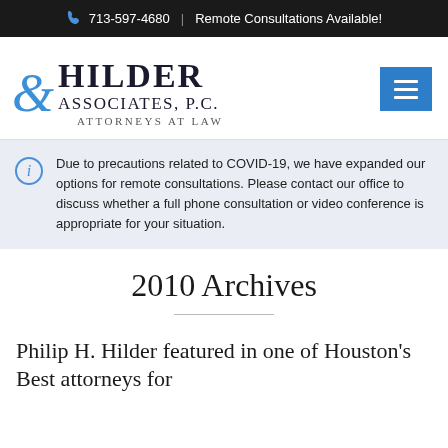713-597-4680 | Remote Consultations Available!
[Figure (logo): Hilder & Associates, P.C. Attorneys at Law logo]
Due to precautions related to COVID-19, we have expanded our options for remote consultations. Please contact our office to discuss whether a full phone consultation or video conference is appropriate for your situation.
2010 Archives
Philip H. Hilder featured in one of Houston's Best attorneys for